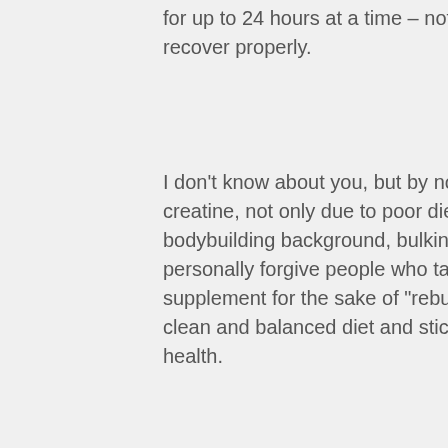for up to 24 hours at a time – not long enough to allow your muscle tissue to recover properly.
I don't know about you, but by now we've all encountered other people who took creatine, not only due to poor diet or lack of supplements, but also due to their bodybuilding background, bulking and cutting cycle bodybuilding. While I can personally forgive people who take the mistake of over using a creatine supplement for the sake of "rebuilding", I would strongly advise you to keep a clean and balanced diet and stick to the recommended guidelines for overall health.
This will keep the majority of your bodyfat from building up and not affect your gains or strength performance.